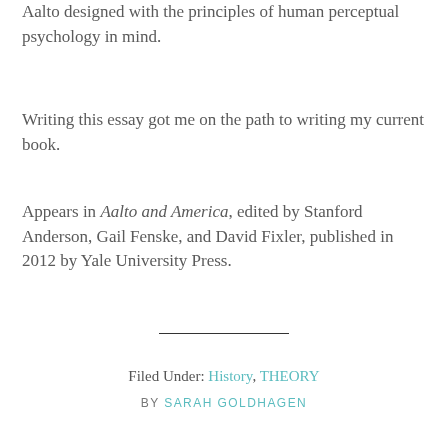Aalto designed with the principles of human perceptual psychology in mind.
Writing this essay got me on the path to writing my current book.
Appears in Aalto and America, edited by Stanford Anderson, Gail Fenske, and David Fixler, published in 2012 by Yale University Press.
Filed Under: History, THEORY BY SARAH GOLDHAGEN